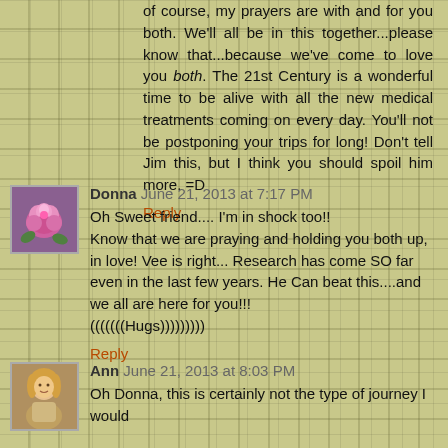of course, my prayers are with and for you both. We'll all be in this together...please know that...because we've come to love you both. The 21st Century is a wonderful time to be alive with all the new medical treatments coming on every day. You'll not be postponing your trips for long! Don't tell Jim this, but I think you should spoil him more. =D
Reply
Donna June 21, 2013 at 7:17 PM
Oh Sweet friend.... I'm in shock too!!
Know that we are praying and holding you both up, in love! Vee is right... Research has come SO far even in the last few years. He Can beat this....and we all are here for you!!!
(((((((Hugs)))))))))
Reply
Ann June 21, 2013 at 8:03 PM
Oh Donna, this is certainly not the type of journey I would